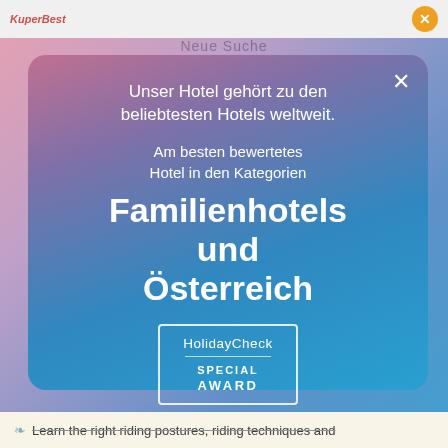[Figure (screenshot): A website popup/modal overlay on a booking or hotel review website. The popup has a rounded rectangle with a gradient background (pink-purple to blue). It contains German text announcing a hotel award. The text reads: 'Unser Hotel gehört zu den beliebtesten Hotels weltweit.' followed by 'Am besten bewertetes Hotel in den Kategorien' and large text 'Familienhotels und Österreich'. At the bottom is a HolidayCheck Special Award badge. There is an X close button in the top right of the popup. Background shows a blurred website page with a top navigation bar and a bottom text snippet.]